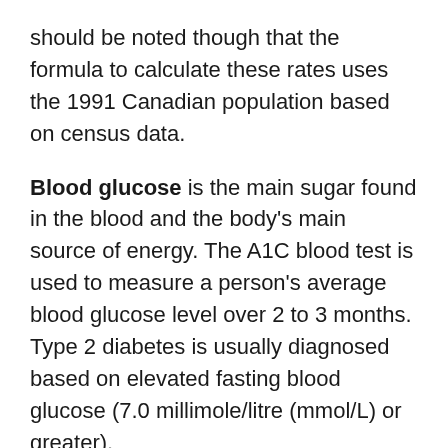should be noted though that the formula to calculate these rates uses the 1991 Canadian population based on census data.
Blood glucose is the main sugar found in the blood and the body's main source of energy. The A1C blood test is used to measure a person's average blood glucose level over 2 to 3 months. Type 2 diabetes is usually diagnosed based on elevated fasting blood glucose (7.0 millimole/litre (mmol/L) or greater).
Blood lipid is a term for fat in the blood stream, and is measured with a lipid profile